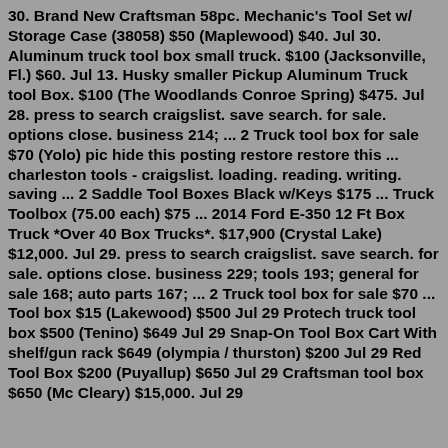30. Brand New Craftsman 58pc. Mechanic's Tool Set w/ Storage Case (38058) $50 (Maplewood) $40. Jul 30. Aluminum truck tool box small truck. $100 (Jacksonville, Fl.) $60. Jul 13. Husky smaller Pickup Aluminum Truck tool Box. $100 (The Woodlands Conroe Spring) $475. Jul 28. press to search craigslist. save search. for sale. options close. business 214; ... 2 Truck tool box for sale $70 (Yolo) pic hide this posting restore restore this ... charleston tools - craigslist. loading. reading. writing. saving ... 2 Saddle Tool Boxes Black w/Keys $175 ... Truck Toolbox (75.00 each) $75 ... 2014 Ford E-350 12 Ft Box Truck *Over 40 Box Trucks*. $17,900 (Crystal Lake) $12,000. Jul 29. press to search craigslist. save search. for sale. options close. business 229; tools 193; general for sale 168; auto parts 167; ... 2 Truck tool box for sale $70 ... Tool box $15 (Lakewood) $500 Jul 29 Protech truck tool box $500 (Tenino) $649 Jul 29 Snap-On Tool Box Cart With shelf/gun rack $649 (olympia / thurston) $200 Jul 29 Red Tool Box $200 (Puyallup) $650 Jul 29 Craftsman tool box $650 (Mc Cleary) $15,000. Jul 29